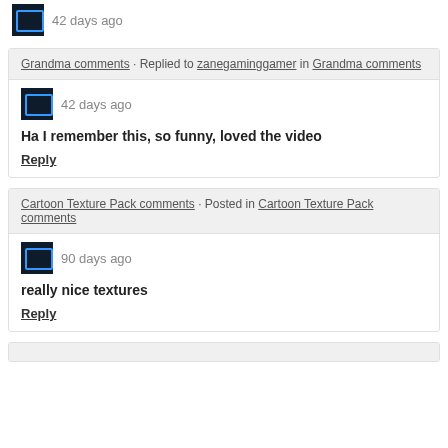42 days ago
Grandma comments · Replied to zanegaminggamer in Grandma comments
42 days ago
Ha I remember this, so funny, loved the video
Reply
Cartoon Texture Pack comments · Posted in Cartoon Texture Pack comments
90 days ago
really nice textures
Reply